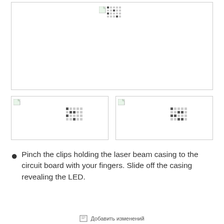[Figure (photo): Large photo placeholder showing a broken image icon with a dot-matrix decorative pattern. White box with grey border.]
[Figure (photo): Small photo placeholder (left) showing a broken image icon with a dot-matrix decorative pattern.]
[Figure (photo): Small photo placeholder (right) showing a broken image icon with a dot-matrix decorative pattern.]
Pinch the clips holding the laser beam casing to the circuit board with your fingers. Slide off the casing revealing the LED.
Добавить изменений